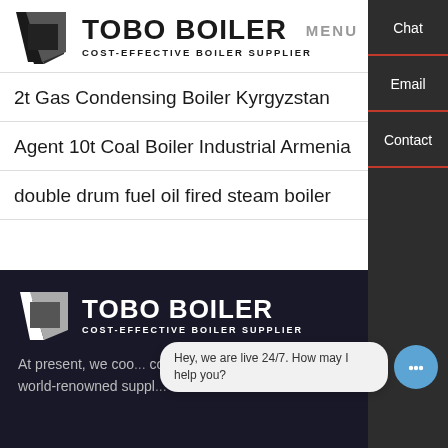[Figure (logo): TOBO BOILER logo with geometric icon and tagline COST-EFFECTIVE BOILER SUPPLIER]
MENU
2t Gas Condensing Boiler Kyrgyzstan
Agent 10t Coal Boiler Industrial Armenia
double drum fuel oil fired steam boiler
[Figure (logo): TOBO BOILER white logo on dark background with tagline COST-EFFECTIVE BOILER SUPPLIER]
At present, we coo... countries, and cooperate with world-renowned suppl...
Chat
Email
Contact
Hey, we are live 24/7. How may I help you?